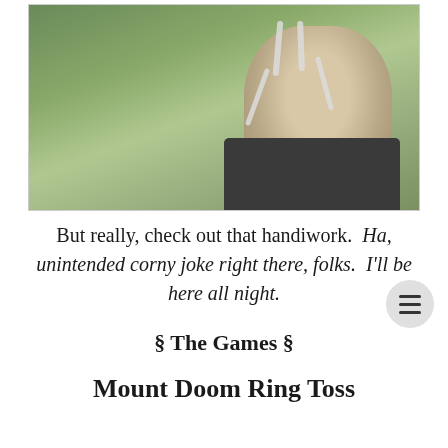[Figure (photo): A young man with white face paint in hand-like patterns on his face, looking downward, with blurred green trees in the background. He is shirtless or wearing a dark top.]
But really, check out that handiwork.  Ha, unintended corny joke right there, folks.  I'll be here all night.
§ The Games §
Mount Doom Ring Toss